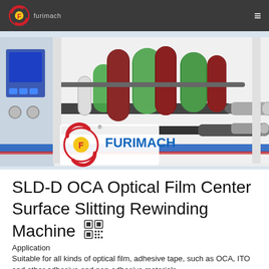furimach
[Figure (photo): Photo of a FURIMACH SLD-D OCA Optical Film Center Surface Slitting Rewinding Machine. The machine is white/grey with blue accent stripes, featuring multiple colored rollers (green, dark red/maroon, dark grey) arranged in a slitting/rewinding configuration. A control panel with blue buttons is visible on the left. The FURIMACH logo and brand name appear in the lower left of the image.]
SLD-D OCA Optical Film Center Surface Slitting Rewinding Machine
Application
Suitable for all kinds of optical film, adhesive tape, such as OCA, ITO and other adhesive and non-adhesive materials.